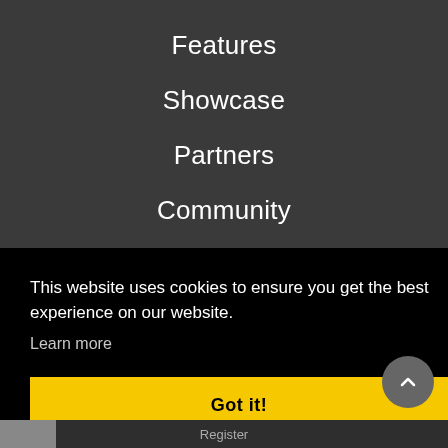Features
Showcase
Partners
Community
Resources
License
This website uses cookies to ensure you get the best experience on our website.
Learn more
Got it!
Register